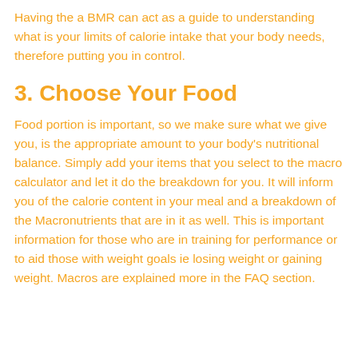Having the a BMR can act as a guide to understanding what is your limits of calorie intake that your body needs, therefore putting you in control.
3. Choose Your Food
Food portion is important, so we make sure what we give you, is the appropriate amount to your body's nutritional balance. Simply add your items that you select to the macro calculator and let it do the breakdown for you. It will inform you of the calorie content in your meal and a breakdown of the Macronutrients that are in it as well. This is important information for those who are in training for performance or to aid those with weight goals ie losing weight or gaining weight. Macros are explained more in the FAQ section.